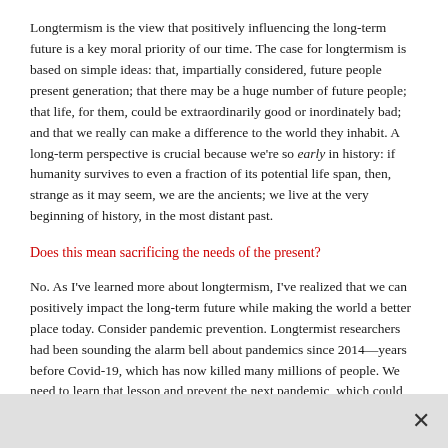Longtermism is the view that positively influencing the long-term future is a key moral priority of our time. The case for longtermism is based on simple ideas: that, impartially considered, future people present generation; that there may be a huge number of future people; that life, for them, could be extraordinarily good or inordinately bad; and that we really can make a difference to the world they inhabit. A long-term perspective is crucial because we're so early in history: if humanity survives to even a fraction of its potential life span, then, strange as it may seem, we are the ancients; we live at the very beginning of history, in the most distant past.
Does this mean sacrificing the needs of the present?
No. As I've learned more about longtermism, I've realized that we can positively impact the long-term future while making the world a better place today. Consider pandemic prevention. Longtermist researchers had been sounding the alarm bell about pandemics since 2014—years before Covid-19, which has now killed many millions of people. We need to learn that lesson and prevent the next pandemic, which could be even worse.
X